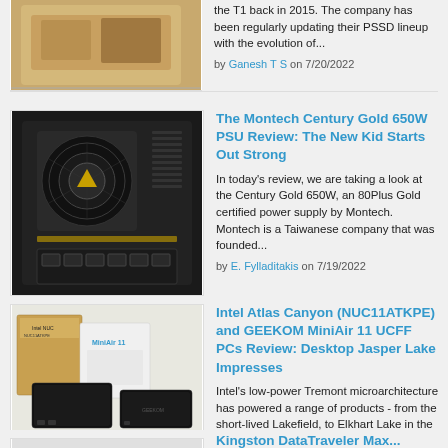[Figure (photo): Partial product image at top of page - a tan/beige colored device]
the T1 back in 2015. The company has been regularly updating their PSSD lineup with the evolution of...
by Ganesh T S on 7/20/2022
[Figure (photo): Montech Century Gold 650W PSU - black power supply unit with hexagonal fan grille]
The Montech Century Gold 650W PSU Review: The New Kid Starts Out Strong
In today's review, we are taking a look at the Century Gold 650W, an 80Plus Gold certified power supply by Montech. Montech is a Taiwanese company that was founded...
by E. Fylladitakis on 7/19/2022
[Figure (photo): Intel Atlas Canyon NUC11ATKPE and GEEKOM MiniAir 11 UCFF PCs - small form factor mini PCs with boxes]
Intel Atlas Canyon (NUC11ATKPE) and GEEKOM MiniAir 11 UCFF PCs Review: Desktop Jasper Lake Impresses
Intel's low-power Tremont microarchitecture has powered a range of products - from the short-lived Lakefield, to Elkhart Lake in the embedded space, and finally, Jasper Lake in the client...
by Ganesh T S on 7/14/2022
Kingston DataTraveler Max...